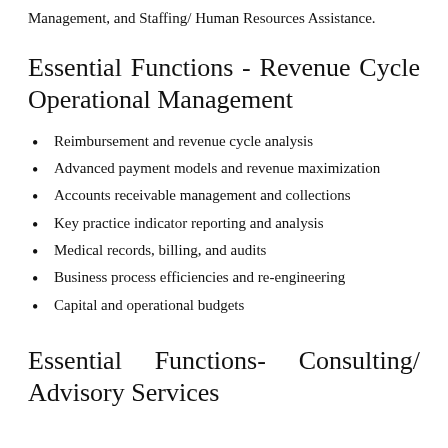Management, and Staffing/ Human Resources Assistance.
Essential Functions - Revenue Cycle Operational Management
Reimbursement and revenue cycle analysis
Advanced payment models and revenue maximization
Accounts receivable management and collections
Key practice indicator reporting and analysis
Medical records, billing, and audits
Business process efficiencies and re-engineering
Capital and operational budgets
Essential Functions- Consulting/ Advisory Services